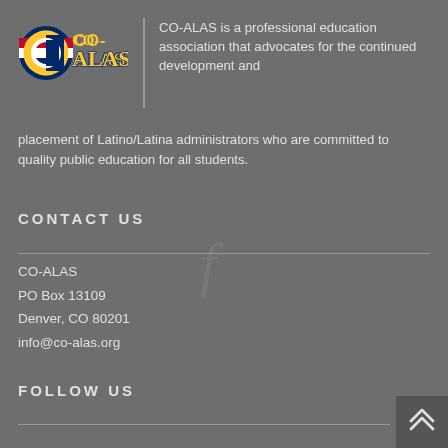[Figure (logo): CO-ALAS logo with Colorado flag circle and yellow/blue stylized text 'CO-ALAS']
CO-ALAS is a professional education association that advocates for the continued development and placement of Latino/Latina administrators who are committed to quality public education for all students.
CONTACT US
CO-ALAS
PO Box 13109
Denver, CO 80201
info@co-alas.org
FOLLOW US